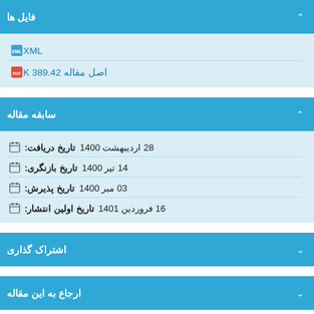فایل ها
XML
اصل مقاله 389.42 K
سابقه مقاله
تاریخ دریافت: 28 اردیبهشت 1400
تاریخ بازنگری: 14 تیر 1400
تاریخ پذیرش: 03 مبر 1400
تاریخ اولین انتشار: 16 فروردین 1401
اشتراک گذاری
ارجاع به این مقاله